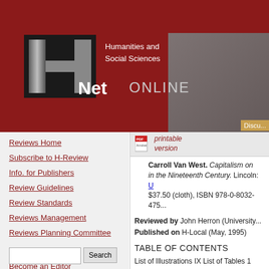Humanities and Social Sciences Net ONLINE
Reviews Home
Subscribe to H-Review
Info. for Publishers
Review Guidelines
Review Standards
Reviews Management
Reviews Planning Committee
Browse Reviews
Become an Editor
Advanced Search
printable version
Carroll Van West. Capitalism on the Frontier in the Nineteenth Century. Lincoln: U... $37.50 (cloth), ISBN 978-0-8032-475...
Reviewed by John Herron (University...
Published on H-Local (May, 1995)
TABLE OF CONTENTS
List of Illustrations IX List of Tables 1 Patterns of Exchange 7 Chapter 2 Ear... Emergence of Coulson, 53 1877-1879... Civilization" in the Clark's Fork Botto...